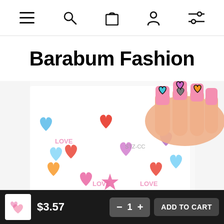Navigation bar with menu, search, cart, account, and filter icons
Barabum Fashion
[Figure (photo): Product photo showing nail stickers with colorful heart designs and 'LOVE' text on a white background. A hand with pink acrylic nails adorned with the stickers is visible. The sticker sheet is branded STZ-CC and features hearts, cupcakes, stars in red, blue, orange, purple, pink colors.]
$3.57  −  1  +  ADD TO CART